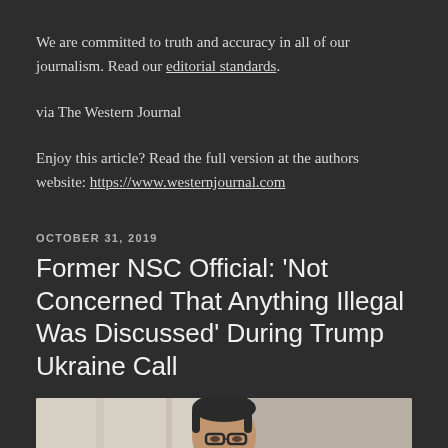We are committed to truth and accuracy in all of our journalism. Read our editorial standards.
via The Western Journal
Enjoy this article? Read the full version at the authors website: https://www.westernjournal.com
OCTOBER 31, 2019
Former NSC Official: ‘Not Concerned That Anything Illegal Was Discussed’ During Trump Ukraine Call
[Figure (photo): Photo of a man with dark hair and glasses, wearing a suit, in an indoor setting]